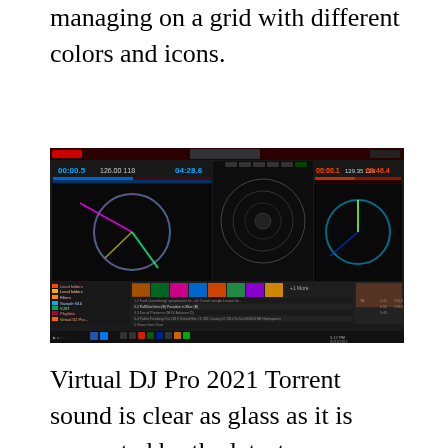managing on a grid with different colors and icons.
[Figure (screenshot): Screenshot of Virtual DJ Pro 2021 software interface showing dual deck view with waveforms, vinyl-style circular visualizers, playlist/library browser at the bottom, and Windows taskbar.]
Virtual DJ Pro 2021 Torrent sound is clear as glass as it is supported by the latest technology supercomputers especially by those that use Virtual DJ Pro 2021 Serial Key.